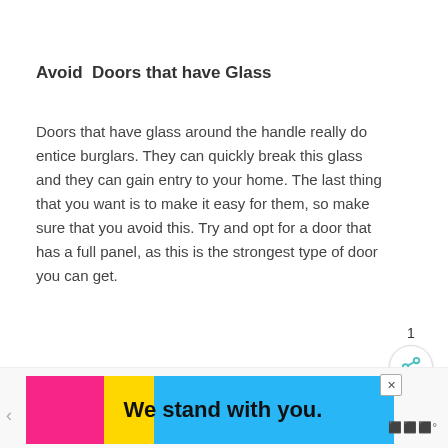Avoid  Doors that have Glass
Doors that have glass around the handle really do entice burglars. They can quickly break this glass and they can gain entry to your home. The last thing that you want is to make it easy for them, so make sure that you avoid this. Try and opt for a door that has a full panel, as this is the strongest type of door you can get.
[Figure (infographic): Teal circular heart/like button with white heart icon, a count of 1, and a circular share button below]
[Figure (infographic): Advertisement banner: colorful background with pink, yellow, blue sections, text 'We stand with you.' in bold, close button and logo]